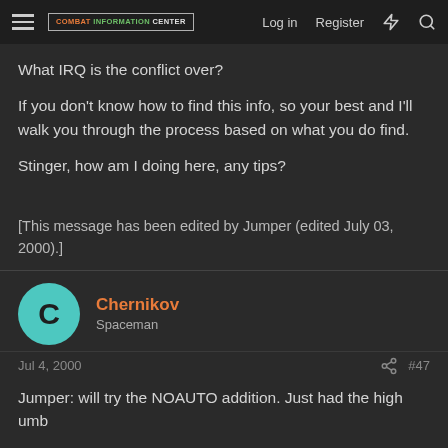Combat Information Center — Log in  Register
What IRQ is the conflict over?
If you don't know how to find this info, so your best and I'll walk you through the process based on what you do find.
Stinger, how am I doing here, any tips?
[This message has been edited by Jumper (edited July 03, 2000).]
Chernikov
Spaceman
Jul 4, 2000
#47
Jumper: will try the NOAUTO addition. Just had the high umb